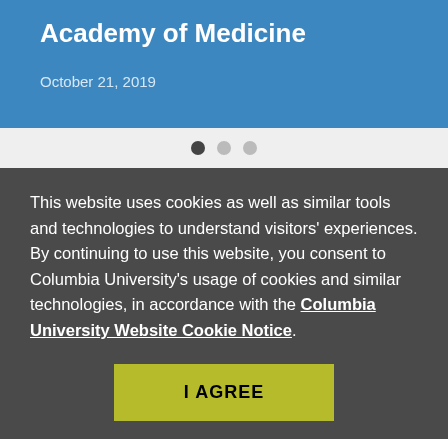Academy of Medicine
October 21, 2019
This website uses cookies as well as similar tools and technologies to understand visitors' experiences. By continuing to use this website, you consent to Columbia University's usage of cookies and similar technologies, in accordance with the Columbia University Website Cookie Notice.
I AGREE